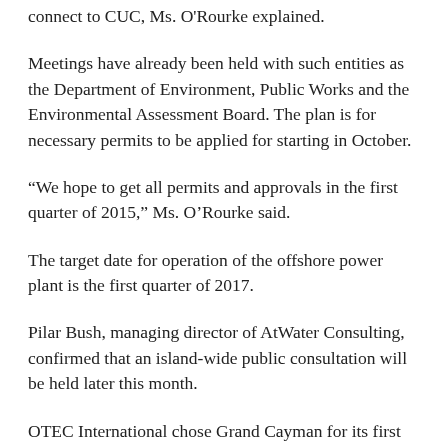connect to CUC, Ms. O'Rourke explained.
Meetings have already been held with such entities as the Department of Environment, Public Works and the Environmental Assessment Board. The plan is for necessary permits to be applied for starting in October.
“We hope to get all permits and approvals in the first quarter of 2015,” Ms. O’Rourke said.
The target date for operation of the offshore power plant is the first quarter of 2017.
Pilar Bush, managing director of AtWater Consulting, confirmed that an island-wide public consultation will be held later this month.
OTEC International chose Grand Cayman for its first commercial system because CUC was “an open and